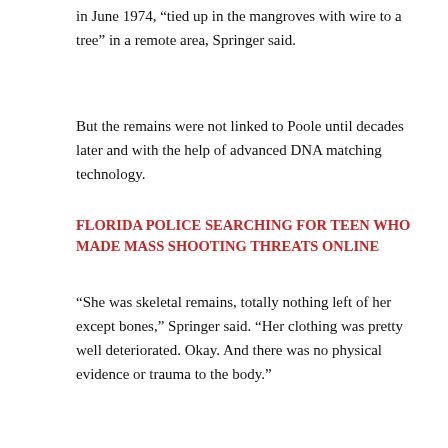in June 1974, “tied up in the mangroves with wire to a tree” in a remote area, Springer said.
But the remains were not linked to Poole until decades later and with the help of advanced DNA matching technology.
FLORIDA POLICE SEARCHING FOR TEEN WHO MADE MASS SHOOTING THREATS ONLINE
“She was skeletal remains, totally nothing left of her except bones,” Springer said. “Her clothing was pretty well deteriorated. Okay. And there was no physical evidence or trauma to the body.”
[Figure (photo): Press conference scene showing two men in a room with a Palm Beach County sheriff seal on the wall and an American flag. A red scroll-to-top button is visible in the upper right.]